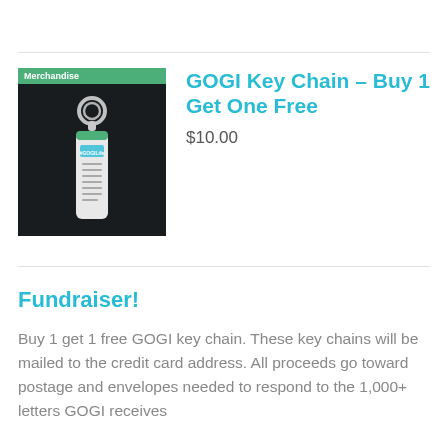[Figure (photo): Photo of a GOGI key chain with '#GOGILife' text on a dark background, with a 'Merchandise' green label badge at top]
GOGI Key Chain – Buy 1 Get One Free
$10.00
Fundraiser!
Buy 1 get 1 free GOGI key chain. These key chains will be mailed to the credit card address. All proceeds go toward postage and envelopes needed to respond to the 1,000+ letters GOGI receives